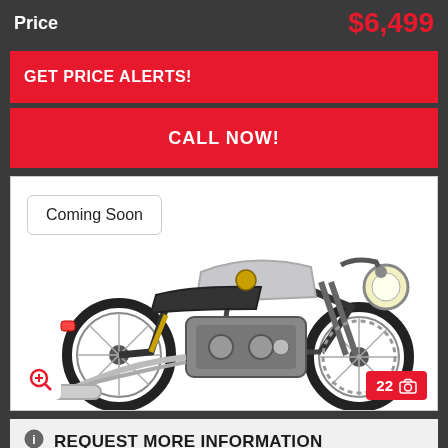Price  $6,499
GET PRICE ALERTS!
CALL NOW!
[Figure (photo): Cafe racer style motorcycle, silver and black, with chrome exhaust pipes and spoked wheels. Has a 'Coming Soon' badge overlaid top-left. Bottom-left shows zoom icon, bottom-right shows '22' with camera icon.]
REQUEST MORE INFORMATION